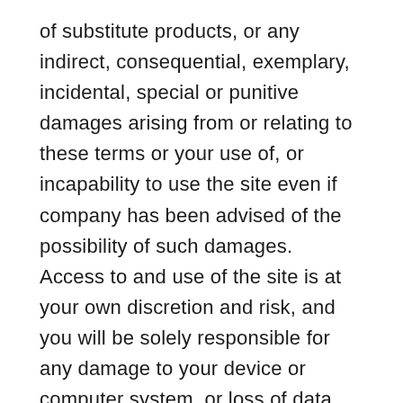of substitute products, or any indirect, consequential, exemplary, incidental, special or punitive damages arising from or relating to these terms or your use of, or incapability to use the site even if company has been advised of the possibility of such damages.  Access to and use of the site is at your own discretion and risk, and you will be solely responsible for any damage to your device or computer system, or loss of data resulting therefrom.
To the maximum extent permitted by law,